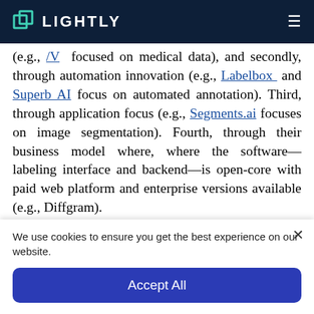LIGHTLY
(e.g., /V focused on medical data), and secondly, through automation innovation (e.g., Labelbox and Superb AI focus on automated annotation). Third, through application focus (e.g., Segments.ai focuses on image segmentation). Fourth, through their business model where, where the software—labeling interface and backend—is open-core with paid web platform and enterprise versions available (e.g., Diffgram).
We use cookies to ensure you get the best experience on our website.
Accept All